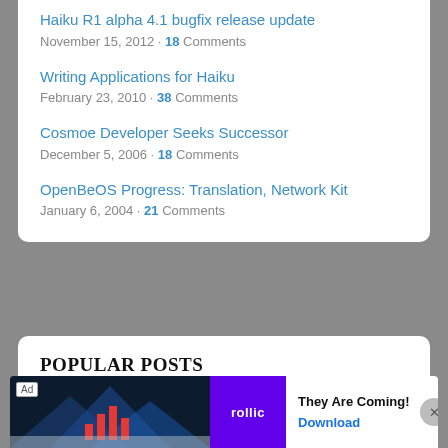Haiku R1 alpha 4.1 bugfix release update
November 15, 2012 · 18 Comments
Writing Applications for Haiku
February 23, 2010 · 38 Comments
Cosmoe Developer Seeks Successor
December 5, 2006 · 18 Comments
OpenBeOS Progress: Translation, Network Kit
January 6, 2004 · 21 Comments
POPULAR POSTS
Rumors, delays, and early testing suggest Intel's Arc GPUs are on shaky ground
[Figure (other): Advertisement banner: rollic game ad with 'They Are Coming!' tagline and Download link]